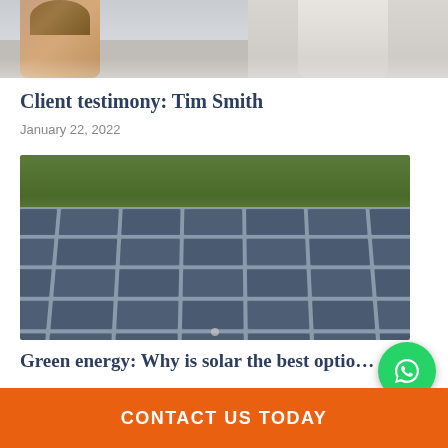[Figure (photo): Top portion of a photo showing two people (one with brown hair, one in white shirt) possibly in front of a house]
Client testimony: Tim Smith
January 22, 2022
[Figure (photo): Close-up photo of blue solar panels arranged in a grid, with green foliage visible at the top]
Green energy: Why is solar the best optio…
CONTACT US TODAY